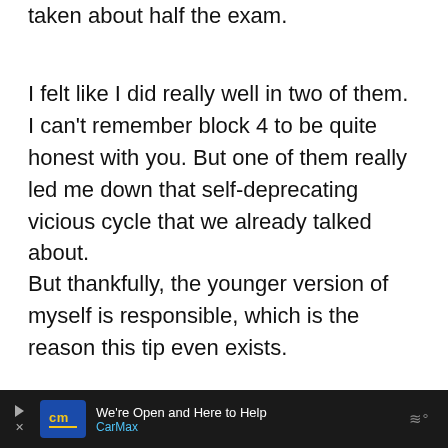But keep in mind, at this point I only had taken about half the exam.
I felt like I did really well in two of them. I can't remember block 4 to be quite honest with you. But one of them really led me down that self-deprecating vicious cycle that we already talked about.
But thankfully, the younger version of myself is responsible, which is the reason this tip even exists.
[Figure (other): Advertisement banner for CarMax: dark background with CarMax logo (yellow 'cm' on blue), text 'We're Open and Here to Help' and 'CarMax', blue diamond navigation icon, and audio/voice icon on far right dark panel.]